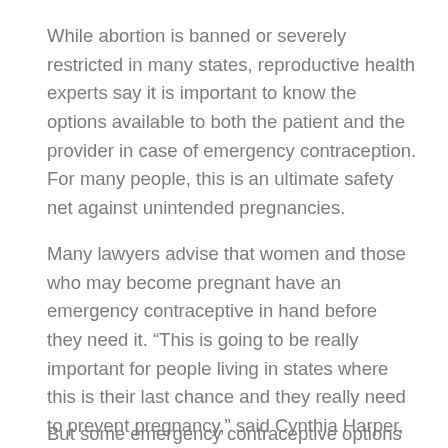While abortion is banned or severely restricted in many states, reproductive health experts say it is important to know the options available to both the patient and the provider in case of emergency contraception. For many people, this is an ultimate safety net against unintended pregnancies.
Many lawyers advise that women and those who may become pregnant have an emergency contraceptive in hand before they need it. “This is going to be really important for people living in states where this is their last chance and they really need to prevent pregnancy,” said Cynthia Harper, a contraceptive researcher and professor at the University of Obstetrics, Gynecology and Reproductive Sciences. California, San Francisco.
But some emergency contraceptive options work well for